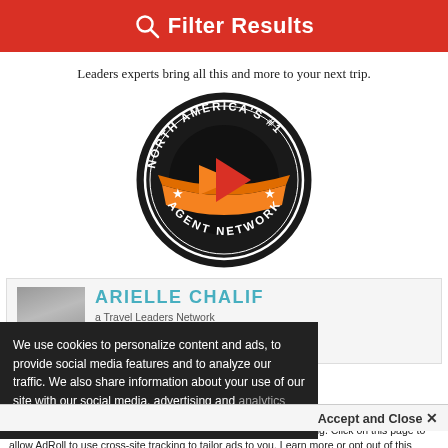Filter Results
Leaders experts bring all this and more to your next trip.
[Figure (logo): North America's #1 Agent Network circular badge logo with orange arrow and ribbon]
ARIELLE CHALIF
Travel Leaders Network
We use cookies to personalize content and ads, to provide social media features and to analyze our traffic. We also share information about your use of our site with our social media, advertising and analytics partners. View more
Accept and Close ×
Your browser settings do not allow cross-site tracking for advertising. Click on this page to allow AdRoll to use cross-site tracking to tailor ads to you. Learn more or opt out of this AdRoll tracking by clicking here. This message only appears once.